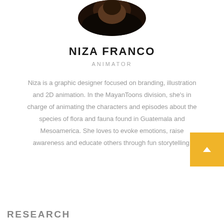[Figure (photo): Circular cropped portrait photo of Niza Franco, partially visible at top of page, dark toned image]
NIZA FRANCO
ANIMATOR
Niza is a graphic designer focused on branding, illustration and 2D animation. In the MayanToons division, she's in charge of animating the characters and episodes about the species of flora and fauna found in Guatemala and Mesoamerica. She loves to evoke emotions, raise awareness and educate others through fun storytelling.
RESEARCH